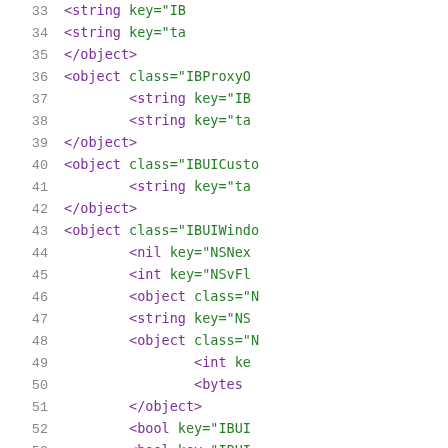Code listing showing XML/Interface Builder file contents, lines 33-54
33    <string key="IB...
34    <string key="ta...
35    </object>
36    <object class="IBProxyO...
37    <string key="IB...
38    <string key="ta...
39    </object>
40    <object class="IBUICusto...
41    <string key="ta...
42    </object>
43    <object class="IBUIWindo...
44    <nil key="NSNex...
45    <int key="NSvFl...
46    <object class="N...
47    <string key="NS...
48    <object class="N...
49    <int key...
50    <bytes...
51    </object>
52    <bool key="IBUI...
53    <bool key="IBUI...
54    ...